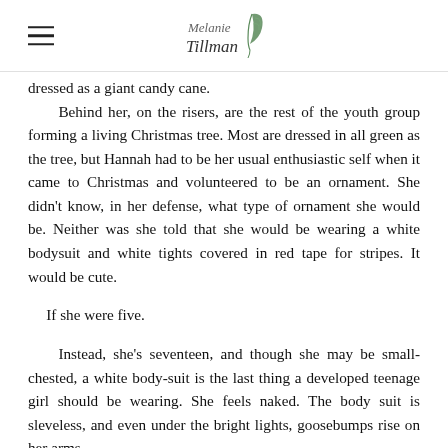Melanie Tillman — logo with quill
dressed as a giant candy cane.

Behind her, on the risers, are the rest of the youth group forming a living Christmas tree. Most are dressed in all green as the tree, but Hannah had to be her usual enthusiastic self when it came to Christmas and volunteered to be an ornament. She didn't know, in her defense, what type of ornament she would be. Neither was she told that she would be wearing a white bodysuit and white tights covered in red tape for stripes. It would be cute.

If she were five.

Instead, she's seventeen, and though she may be small-chested, a white body-suit is the last thing a developed teenage girl should be wearing. She feels naked. The body suit is sleveless, and even under the bright lights, goosebumps rise on her arms.

Nevertheless, she tilts her chin bravely and says her lines: